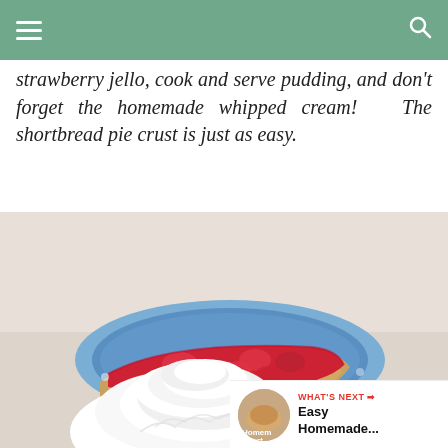strawberry jello, cook and serve pudding, and don't forget the homemade whipped cream! The shortbread pie crust is just as easy.
[Figure (photo): A slice of strawberry pie with red strawberry topping on a blue and white plate, with a large mound of homemade whipped cream in the foreground. Pie has a shortbread crust.]
WHAT'S NEXT → Easy Homemade...